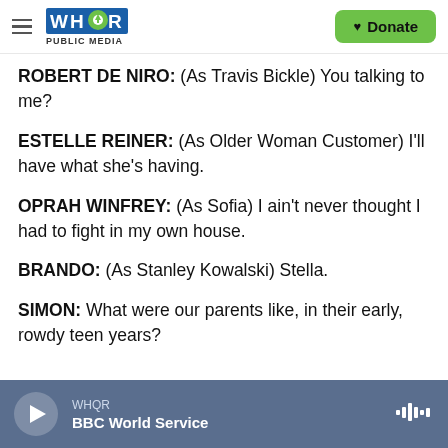WHQR PUBLIC MEDIA | Donate
ROBERT DE NIRO: (As Travis Bickle) You talking to me?
ESTELLE REINER: (As Older Woman Customer) I'll have what she's having.
OPRAH WINFREY: (As Sofia) I ain't never thought I had to fight in my own house.
BRANDO: (As Stanley Kowalski) Stella.
SIMON: What were our parents like, in their early, rowdy teen years?
WHQR | BBC World Service